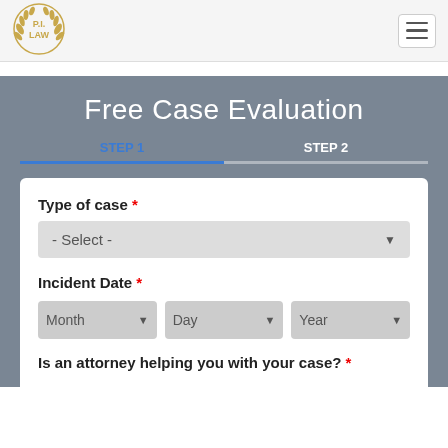[Figure (logo): P.I. LAW circular logo with gold laurel wreath]
Free Case Evaluation
STEP 1
STEP 2
Type of case *
- Select -
Incident Date *
Month
Day
Year
Is an attorney helping you with your case? *